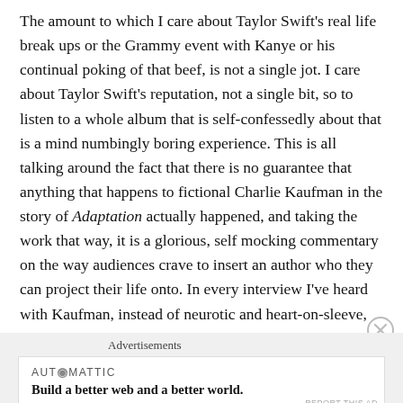The amount to which I care about Taylor Swift's real life break ups or the Grammy event with Kanye or his continual poking of that beef, is not a single jot. I care about Taylor Swift's reputation, not a single bit, so to listen to a whole album that is self-confessedly about that is a mind numbingly boring experience. This is all talking around the fact that there is no guarantee that anything that happens to fictional Charlie Kaufman in the story of Adaptation actually happened, and taking the work that way, it is a glorious, self mocking commentary on the way audiences crave to insert an author who they can project their life onto. In every interview I've heard with Kaufman, instead of neurotic and heart-on-sleeve, he can come across as standoffish, both condescending and oblique, and incredibly resistant to explicit self-commentary.
Advertisements
AUTOMATTIC
Build a better web and a better world.